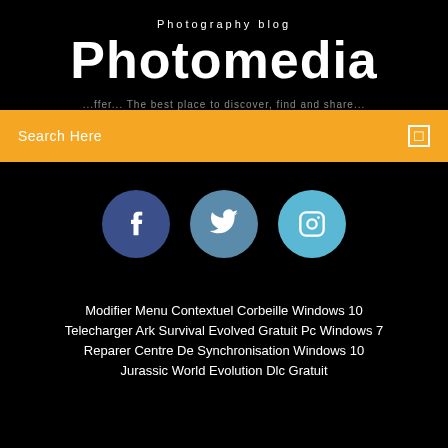Photography blog
Photomedia
...The best place to discover, find and share...
Search Here
[Figure (infographic): Social media icons: Facebook (dark blue circle), Twitter (medium blue circle), Instagram (light blue circle)]
Modifier Menu Contextuel Corbeille Windows 10
Telecharger Ark Survival Evolved Gratuit Pc Windows 7
Reparer Centre De Synchronisation Windows 10
Jurassic World Evolution Dlc Gratuit